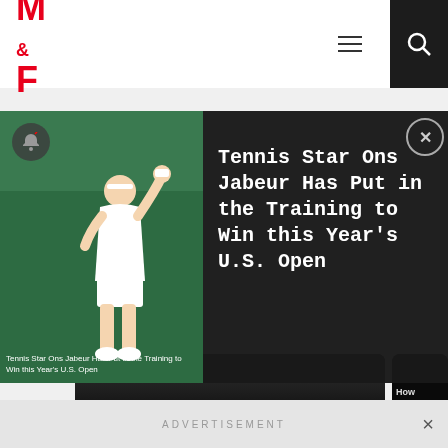M&F (Muscle & Fitness) logo, hamburger menu, search icon
[Figure (screenshot): Notification overlay showing tennis player Ons Jabeur with title: Tennis Star Ons Jabeur Has Put in the Training to Win this Year's U.S. Open]
Tennis Star Ons Jabeur Has Put in the Training to Win this Year's U.S. Open
[Figure (photo): IFBB Pro Donna Salib article thumbnail - dark background with text overlay]
IFBB Pro Donna Salib Went From Bodyslams To...
[Figure (photo): How Robbie La... Ruthlessly Co... article thumbnail]
How Robbie La... Ruthlessly Co...
CyanPuzzle · 30 Jul
She paid a lot of money to look like this and enjoy the shortene...
🔥 Top Comment   👍 3
OrangeSu...
he is doesnt loo... inspiring
🔥 Top Commen...
ADVERTISEMENT